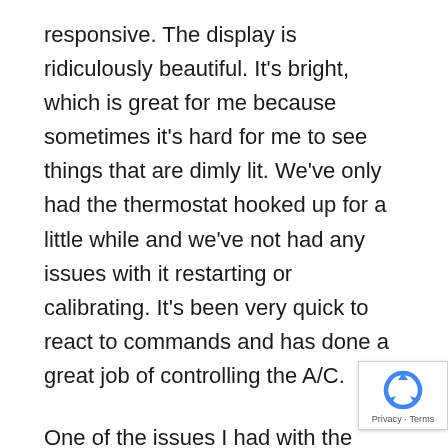responsive. The display is ridiculously beautiful. It's bright, which is great for me because sometimes it's hard for me to see things that are dimly lit. We've only had the thermostat hooked up for a little while and we've not had any issues with it restarting or calibrating. It's been very quick to react to commands and has done a great job of controlling the A/C.
One of the issues I had with the ecobee3 was its menu system. There were several options on its home screen that all seemed like access to the device's settings. This was not the case. Now, there are fewer options on the home screen and a well-defined hamburger menu that takes a us the settings. I'm no longer frustrated with the
[Figure (logo): reCAPTCHA badge with recycling-arrow icon and Privacy · Terms links]